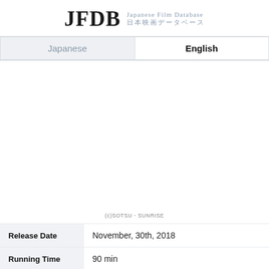JFDB Japanese Film Database 日本映画データベース
Japanese | English
[Figure (photo): Movie poster or film image area (blank/not loaded), with copyright notice (c)SOTSU・SUNRISE at the bottom]
(c)SOTSU・SUNRISE
| Field | Value |
| --- | --- |
| Release Date | November, 30th, 2018 |
| Running Time | 90 min |